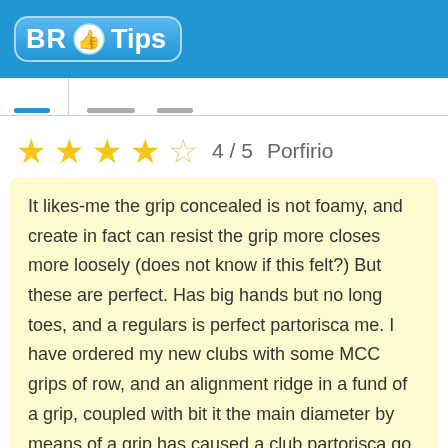BR Tips
4 / 5  Porfirio
It likes-me the grip concealed is not foamy, and create in fact can resist the grip more closes more loosely (does not know if this felt?) But these are perfect. Has big hands but no long toes, and a regulars is perfect partorisca me. I have ordered my new clubs with some MCC grips of row, and an alignment ridge in a fund of a grip, coupled with bit it the main diameter by means of a grip has caused a club partorisca go closed in my hand,